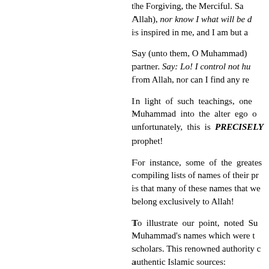the Forgiving, the Merciful. Sa... Allah), nor know I what will be d... is inspired in me, and I am but a...
Say (unto them, O Muhammad)... partner. Say: Lo! I control not hu... from Allah, nor can I find any re...
In light of such teachings, one... Muhammad into the alter ego o... unfortunately, this is PRECISELY... prophet!
For instance, some of the greates... compiling lists of names of their pr... is that many of these names that we... belong exclusively to Allah!
To illustrate our point, noted Su... Muhammad's names which were t... scholars. This renowned authority c... authentic Islamic sources:
This is the explanation of the N... Shaykh al-Islam, the last of the... d Sunnti (d.911) in his book...